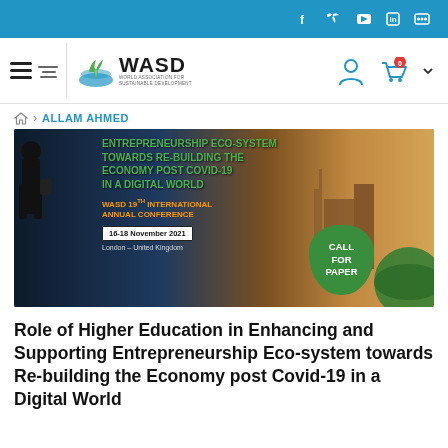Social icons: f, twitter, youtube, in, flickr
[Figure (logo): WASD World Association for Sustainable Development logo with leaf graphic]
[Figure (infographic): WASD 19th International Annual Conference banner: Enhancing and Supporting Entrepreneurship Eco-System Towards Re-Building the Economy Post Covid-19 in a Digital World. 16-18 November 2021, London - United Kingdom. Call for Paper.]
Home > ALLAM AHMED
Role of Higher Education in Enhancing and Supporting Entrepreneurship Eco-system towards Re-building the Economy post Covid-19 in a Digital World